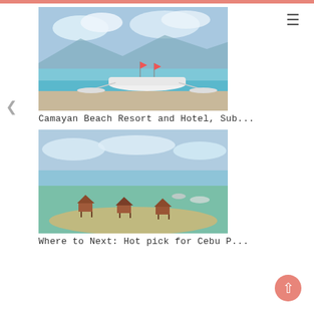[Figure (photo): Aerial or beach-level photo of a white outrigger boat on calm turquoise water near a sandy beach with mountains in the background under a blue sky with clouds.]
Camayan Beach Resort and Hotel, Sub...
[Figure (photo): Aerial photo of a shallow coastal sandbar with small hut-like structures on stilts in calm greenish-blue water under a cloudy sky.]
Where to Next: Hot pick for Cebu P...